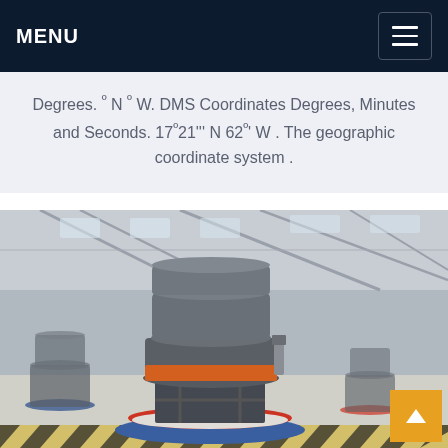MENU
Degrees. º N º W. DMS Coordinates Degrees, Minutes and Seconds. 17º21''' N 62º' W . The geographic coordinate system .
[Figure (photo): Industrial cone crusher machine on display in a large factory/warehouse floor, with red base ring, blue surrounding ring, and yellow safety markings on the floor. Multiple similar machines visible in the background under a metal-trussed roof.]